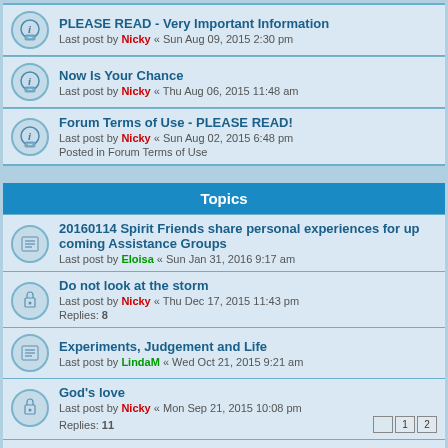PLEASE READ - Very Important Information
Last post by Nicky « Sun Aug 09, 2015 2:30 pm
Now Is Your Chance
Last post by Nicky « Thu Aug 06, 2015 11:48 am
Forum Terms of Use - PLEASE READ!
Last post by Nicky « Sun Aug 02, 2015 6:48 pm
Posted in Forum Terms of Use
Topics
20160114 Spirit Friends share personal experiences for up coming Assistance Groups
Last post by Eloisa « Sun Jan 31, 2016 9:17 am
Do not look at the storm
Last post by Nicky « Thu Dec 17, 2015 11:43 pm
Replies: 8
Experiments, Judgement and Life
Last post by LindaM « Wed Oct 21, 2015 9:21 am
God's love
Last post by Nicky « Mon Sep 21, 2015 10:08 pm
Replies: 11
FREE WILL
Last post by Nicky « Sun Aug 30, 2015 7:46 pm
Replies: 1
Be diligent
Last post by Pam « Sun Aug 30, 2015 7:17 am